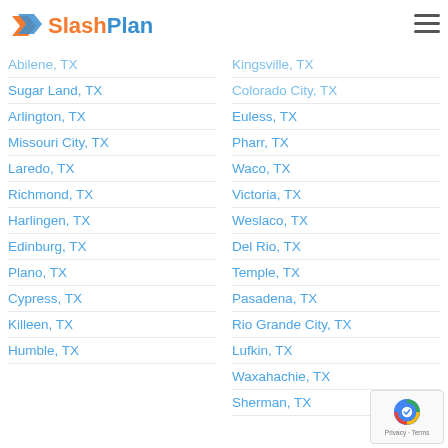[Figure (logo): SlashPlan logo with orange and blue arrow/shield icon and text 'SlashPlan']
Kingsville, TX
Colorado City, TX
Abilene, TX
Euless, TX
Sugar Land, TX
Pharr, TX
Arlington, TX
Waco, TX
Missouri City, TX
Victoria, TX
Laredo, TX
Weslaco, TX
Richmond, TX
Del Rio, TX
Harlingen, TX
Temple, TX
Edinburg, TX
Pasadena, TX
Plano, TX
Rio Grande City, TX
Cypress, TX
Lufkin, TX
Killeen, TX
Waxahachie, TX
Humble, TX
Sherman, TX